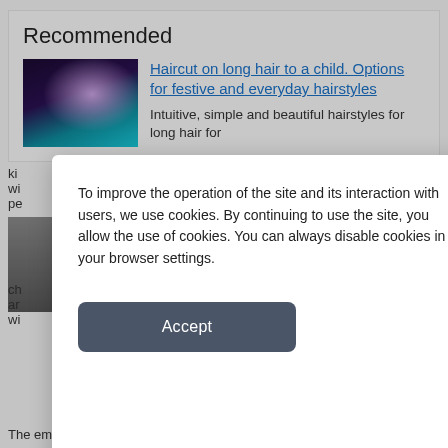Recommended
[Figure (photo): Thumbnail photo of a child's hairstyle with braids and decorations, dark blue/teal tones]
Haircut on long hair to a child. Options for festive and everyday hairstyles
Intuitive, simple and beautiful hairstyles for long hair for kids, with photos and step-by-step instructions. Perfect for everyday wear.
To improve the operation of the site and its interaction with users, we use cookies. By continuing to use the site, you allow the use of cookies. You can always disable cookies in your browser settings.
Accept
The emo Style has gained popularity around the end of